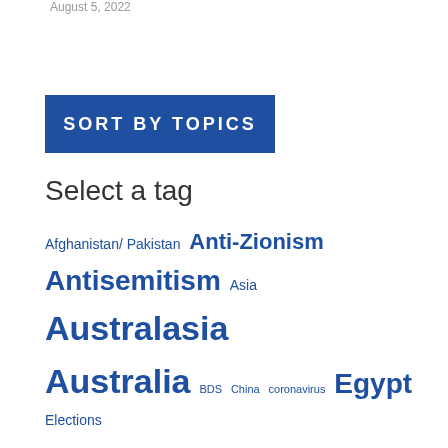August 5, 2022
SORT BY TOPICS
Select a tag
Afghanistan/ Pakistan Anti-Zionism Antisemitism Asia Australasia Australia BDS China coronavirus Egypt Elections Europe Far Right Fatah Gaza Gulf states Hamas Hezbollah Holocaust/ War Crimes Immigration/ Multiculturalism Indonesia International Jewry International Security Iran Iraq IRGC Islamic Extremism